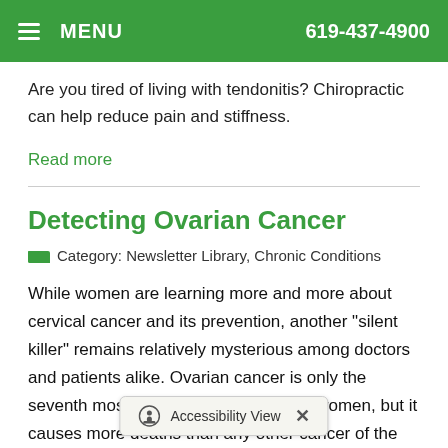MENU  619-437-4900
Are you tired of living with tendonitis? Chiropractic can help reduce pain and stiffness.
Read more
Detecting Ovarian Cancer
Category: Newsletter Library, Chronic Conditions
While women are learning more and more about cervical cancer and its prevention, another "silent killer" remains relatively mysterious among doctors and patients alike. Ovarian cancer is only the seventh most common cancer among women, but it causes more deaths than any other cancer of the female reproductive...
Accessibility View